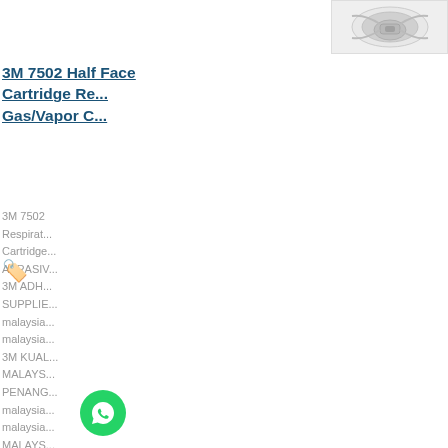[Figure (photo): Product image of 3M 7502 Half Face respirator mask, shown in white/gray colors, partially cropped on the right side]
3M 7502 Half Face Cartridge Respirator Gas/Vapor Cartridge
3M 7502 Respirator Cartridge ABRASIVE 3M ADHESIVE SUPPLIER malaysia malaysia 3M KUALA LUMPUR MALAYSIA PENANG malaysia malaysia MALAYSIA malaysia 3m supp MALAYSIA SUPPLIER MALAYSIA ACCESSORIES SUPPLIER